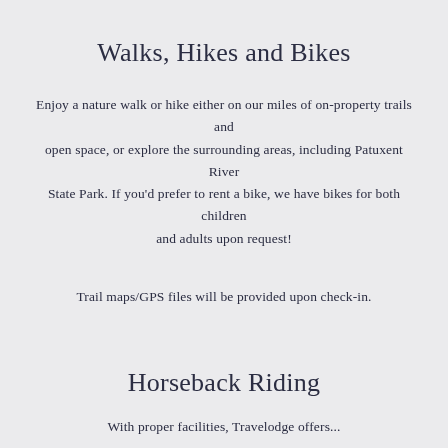Walks, Hikes and Bikes
Enjoy a nature walk or hike either on our miles of on-property trails and open space, or explore the surrounding areas, including Patuxent River State Park. If you'd prefer to rent a bike, we have bikes for both children and adults upon request!
Trail maps/GPS files will be provided upon check-in.
Horseback Riding
With proper facilities, Travelodge offers...